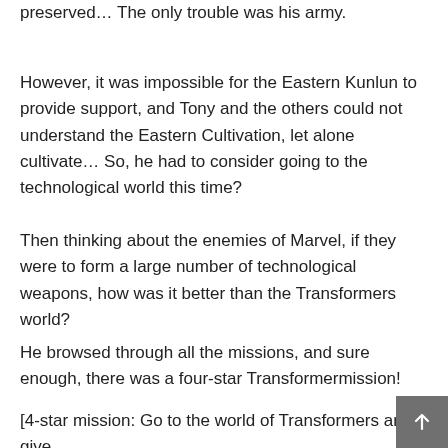preserved… The only trouble was his army.
However, it was impossible for the Eastern Kunlun to provide support, and Tony and the others could not understand the Eastern Cultivation, let alone cultivate… So, he had to consider going to the technological world this time?
Then thinking about the enemies of Marvel, if they were to form a large number of technological weapons, how was it better than the Transformers world?
He browsed through all the missions, and sure enough, there was a four-star Transformermission!
[4-star mission: Go to the world of Transformers and give